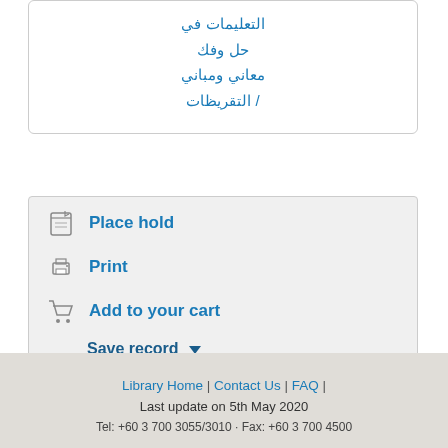التعليمات في حل وفك معاني ومباني / التقريظات
Place hold
Print
Add to your cart
Save record ▼
More searches ▼
Share
Library Home | Contact Us | FAQ | Last update on 5th May 2020